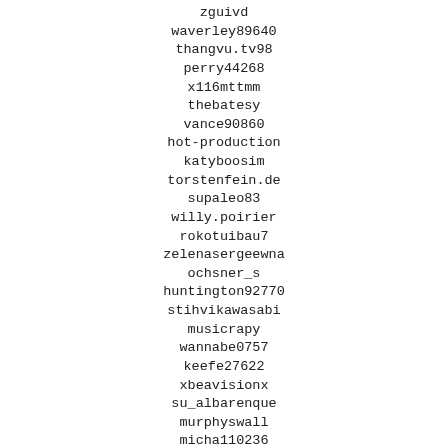zguivd
waverley89640
thangvu.tv98
perry44268
x116mttmm
thebatesy
vance90860
hot-production
katyboosim
torstenfein.de
supaleo83
willy.poirier
rokotuibau7
zelenasergeewna
ochsner_s
huntington92770
stihvikawasabi
musicrapy
wannabe0757
keefe27622
xbeavisionx
su_albarenque
murphyswall
micha110236
z.barkdull_
shuaet
treaccah
zolly64617
xujosoru
63antifriz63